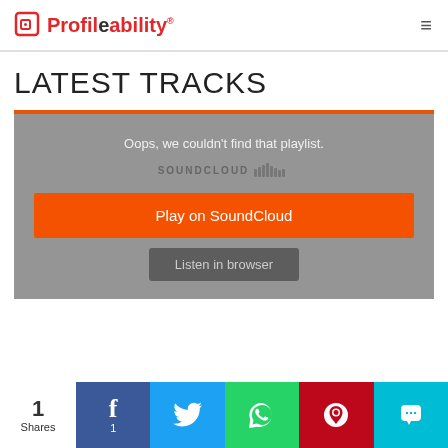Profileability
LATEST TRACKS
[Figure (screenshot): SoundCloud embedded player widget showing error message 'Oops, we couldn't find that playlist.' with SoundCloud logo, orange 'Play on SoundCloud' button, and grey 'Listen in browser' button on grey background with orange top border]
1 Shares (social share bar with Facebook, Twitter, WhatsApp, Pinterest, SMS buttons)